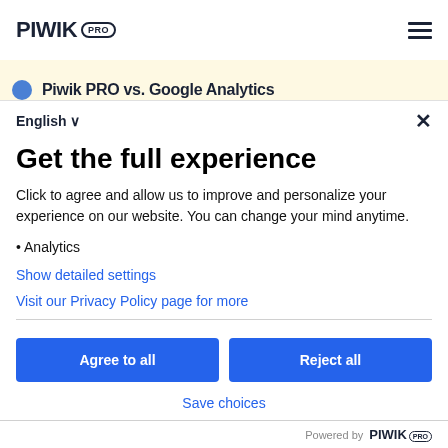[Figure (screenshot): Piwik PRO logo in top navigation bar]
[Figure (screenshot): Hamburger menu icon in top right corner]
[Figure (screenshot): Yellow banner partially visible behind modal showing 'Piwik PRO vs. Google Analytics']
English ∨
×
Get the full experience
Click to agree and allow us to improve and personalize your experience on our website. You can change your mind anytime.
• Analytics
Show detailed settings
Visit our Privacy Policy page for more
Agree to all
Reject all
Save choices
Powered by PIWIK PRO